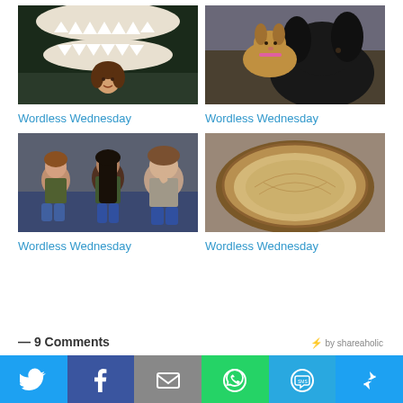[Figure (photo): Girl posing in front of a shark jaw exhibit]
Wordless Wednesday
[Figure (photo): Two dogs, a small tan dog and a large black dog]
Wordless Wednesday
[Figure (photo): Three young women sitting together on a couch]
Wordless Wednesday
[Figure (photo): An empty pie crust in a round baking dish]
Wordless Wednesday
⚡ by shareaholic
— 9 Comments